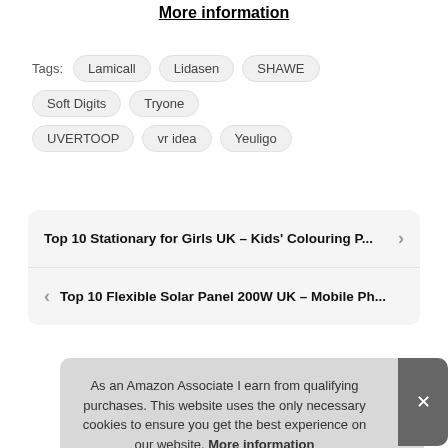More information
Tags: Lamicall Lidasen SHAWE Soft Digits Tryone UVERTOOP vr idea Yeuligo
Top 10 Stationary for Girls UK – Kids' Colouring P...
Top 10 Flexible Solar Panel 200W UK – Mobile Ph...
As an Amazon Associate I earn from qualifying purchases. This website uses the only necessary cookies to ensure you get the best experience on our website. More information